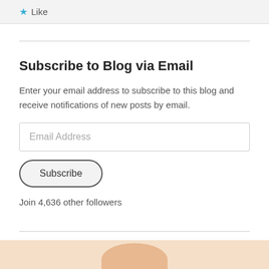[Figure (screenshot): Top gray bar with a blue star icon and the word 'Like']
Subscribe to Blog via Email
Enter your email address to subscribe to this blog and receive notifications of new posts by email.
[Figure (screenshot): Email Address input field (empty, placeholder text 'Email Address')]
[Figure (screenshot): Subscribe button with rounded pill border]
Join 4,636 other followers
[Figure (screenshot): Follow K.M. Allan button (teal/blue) with WordPress icon and follower count badge showing 4,057]
[Figure (photo): Partial image at bottom showing a circular crop of a person, visible from below the divider line]